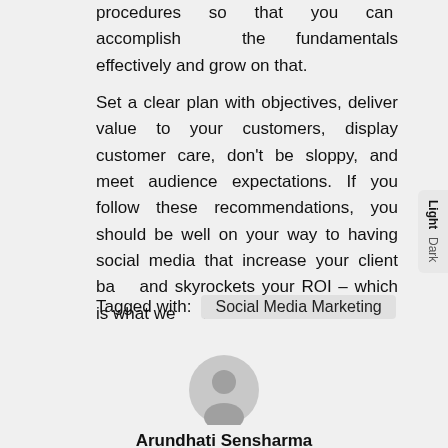procedures so that you can accomplish the fundamentals effectively and grow on that.
Set a clear plan with objectives, deliver value to your customers, display customer care, don't be sloppy, and meet audience expectations. If you follow these recommendations, you should be well on your way to having social media that increase your client base and skyrockets your ROI – which is what we all want.
Tagged with: Social Media Marketing
[Figure (illustration): Generic user avatar icon - grey circle with silhouette of a person]
Arundhati Sensharma